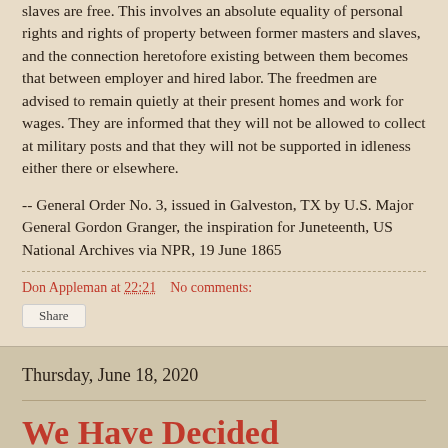slaves are free.  This involves an absolute equality of personal rights and rights of property between former masters and slaves, and the connection heretofore existing between them becomes that between employer and hired labor.  The freedmen are advised to remain quietly at their present homes and work for wages.  They are informed that they will not be allowed to collect at military posts and that they will not be supported in idleness either there or elsewhere.
-- General Order No. 3, issued in Galveston, TX by U.S. Major General Gordon Granger, the inspiration for Juneteenth, US National Archives via NPR, 19 June 1865
Don Appleman at 22:21   No comments:
Share
Thursday, June 18, 2020
We Have Decided